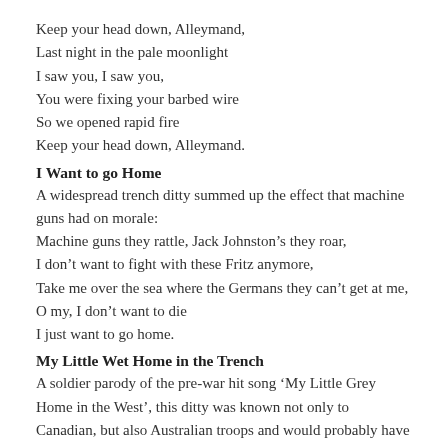Keep your head down, Alleymand,
Last night in the pale moonlight
I saw you, I saw you,
You were fixing your barbed wire
So we opened rapid fire
Keep your head down, Alleymand.
I Want to go Home
A widespread trench ditty summed up the effect that machine guns had on morale:
Machine guns they rattle, Jack Johnston’s they roar,
I don’t want to fight with these Fritz anymore,
Take me over the sea where the Germans they can’t get at me,
O my, I don’t want to die
I just want to go home.
My Little Wet Home in the Trench
A soldier parody of the pre-war hit song ‘My Little Grey Home in the West’, this ditty was known not only to Canadian, but also Australian troops and would probably have been sung by British soldiers as well.
‘Jack Johnson’s’ were large, loud shells that left dark smoke in their wake, named after the African American boxer of the period.
I’ve a little wet home in the trench,
Where the rainsorms continually drench,